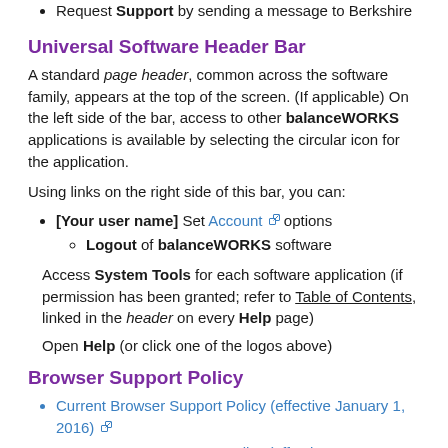Request Support by sending a message to Berkshire
Universal Software Header Bar
A standard page header, common across the software family, appears at the top of the screen. (If applicable) On the left side of the bar, access to other balanceWORKS applications is available by selecting the circular icon for the application.
Using links on the right side of this bar, you can:
[Your user name] Set Account options
Logout of balanceWORKS software
Access System Tools for each software application (if permission has been granted; refer to Table of Contents, linked in the header on every Help page)
Open Help (or click one of the logos above)
Browser Support Policy
Current Browser Support Policy (effective January 1, 2016)
Legacy Browser Support Policy (effective January 1,